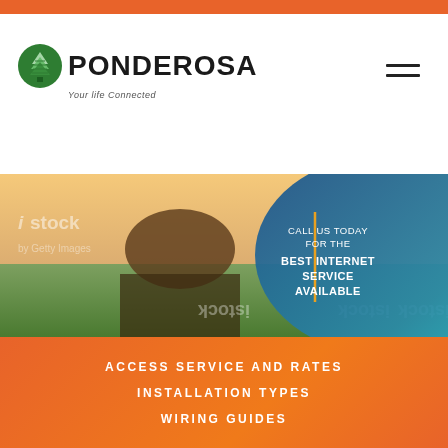[Figure (logo): Ponderosa logo with green tree icon and tagline 'Your life Connected']
[Figure (photo): Woman sitting on a deck using a laptop, istock watermarked image, with blue gradient overlay on right side showing 'CALL US TODAY FOR THE BEST INTERNET SERVICE AVAILABLE']
ACCESS SERVICE AND RATES
INSTALLATION TYPES
WIRING GUIDES